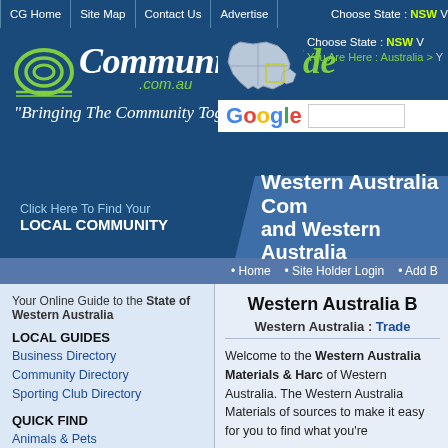CG Home | Site Map | Contact Us | Advertise | Choose State: NSW
[Figure (logo): CommunityGuide.com.au logo with spiral graphic and tagline 'Bringing The Community Together']
[Figure (map): Map of Australia outline used for state selector]
You Are Here : Australia >
Western Australia Com and Western Australia
Click Here To Find Your LOCAL COMMUNITY
• Home • Site Holder Login • Add B
Western Australia B
Western Australia : Trade
Your Online Guide to the State of Western Australia
LOCAL GUIDES
Business Directory
Community Directory
Sporting Club Directory
QUICK FIND
Animals & Pets
Art & Craft
Automotive & Mechanical
Building & Construction
Clothing & Fashion
Community Groups
Computers & Electrical
Entertainment & Leisure
Food & Liquor
Hair & Beauty
Health & Fitness
Welcome to the Western Australia Materials & Har of Western Australia. The Western Australia Materials of sources to make it easy for you to find what you're